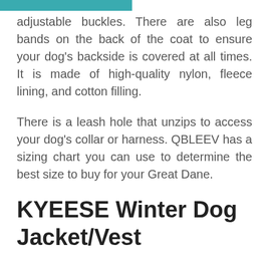adjustable buckles. There are also leg bands on the back of the coat to ensure your dog's backside is covered at all times. It is made of high-quality nylon, fleece lining, and cotton filling.
There is a leash hole that unzips to access your dog's collar or harness. QBLEEV has a sizing chart you can use to determine the best size to buy for your Great Dane.
KYEESE Winter Dog Jacket/Vest